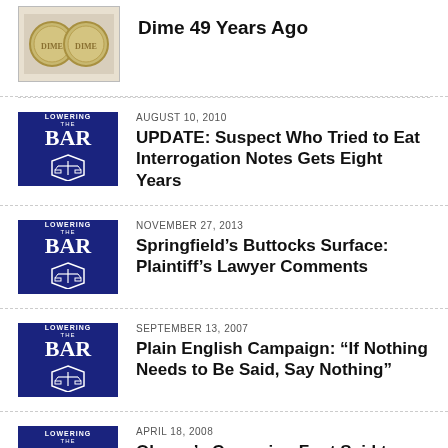[Figure (photo): Thumbnail showing two coins (dimes) - partial, cropped at top]
Dime 49 Years Ago
[Figure (logo): Lowering the Bar logo - white shield with scales of justice on dark navy background]
AUGUST 10, 2010
UPDATE: Suspect Who Tried to Eat Interrogation Notes Gets Eight Years
[Figure (logo): Lowering the Bar logo - white shield with scales of justice on dark navy background]
NOVEMBER 27, 2013
Springfield's Buttocks Surface: Plaintiff's Lawyer Comments
[Figure (logo): Lowering the Bar logo - white shield with scales of justice on dark navy background]
SEPTEMBER 13, 2007
Plain English Campaign: “If Nothing Needs to Be Said, Say Nothing”
[Figure (logo): Lowering the Bar logo - white shield with scales of justice on dark navy background]
APRIL 18, 2008
Obama’s Campaign Font Said to Offer Hope, Convey Simple Simplicity